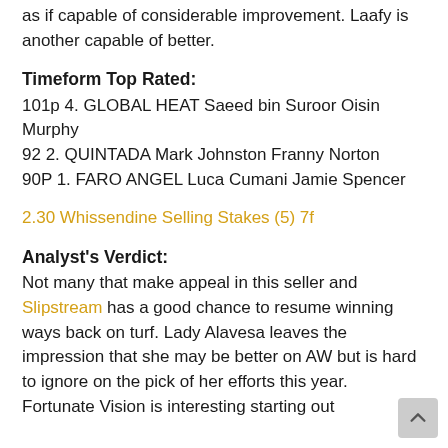as if capable of considerable improvement. Laafy is another capable of better.
Timeform Top Rated:
101p 4. GLOBAL HEAT Saeed bin Suroor Oisin Murphy
92 2. QUINTADA Mark Johnston Franny Norton
90P 1. FARO ANGEL Luca Cumani Jamie Spencer
2.30 Whissendine Selling Stakes (5) 7f
Analyst's Verdict:
Not many that make appeal in this seller and Slipstream has a good chance to resume winning ways back on turf. Lady Alavesa leaves the impression that she may be better on AW but is hard to ignore on the pick of her efforts this year. Fortunate Vision is interesting starting out